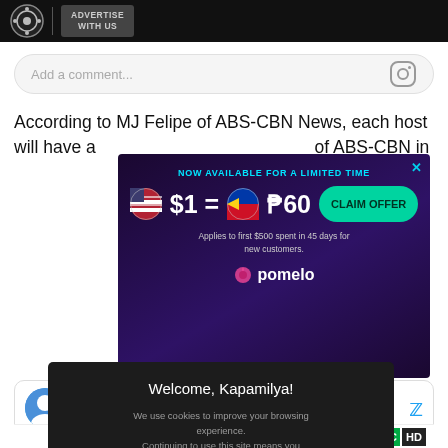ABS-CBN | ADVERTISE WITH US
Add a comment...
According to MJ Felipe of ABS-CBN News, each host will have a [ad overlay] of ABS-CBN inc[luding]
[Figure (screenshot): Advertisement banner: NOW AVAILABLE FOR A LIMITED TIME. $1 = ₱60. CLAIM OFFER. Applies to first $500 spent in 45 days for new customers. pomelo]
MJ Felipe @[handle]
LOOK: The upcoming [cast] oni, Bianca [King,] [Ri]chard Juan, M[...] Kim Chiu. Ea[ch has an] ty to cover a[cross] e TV and cable), Kumu, Youtube and Facebook.
[Figure (screenshot): Cookie consent modal: Welcome, Kapamilya! We use cookies to improve your browsing experience. Continuing to use this site means you agree to our use of cookies. Tell me more! I AGREE!]
[Figure (logo): ANC HD logo at bottom]